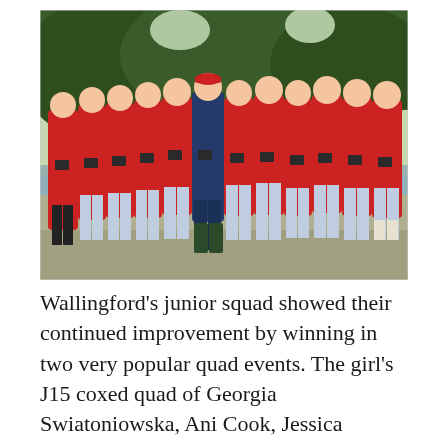[Figure (photo): Group photo of Wallingford junior rowing squad — about 12 young athletes in red tops and grey/blue shorts holding medal boxes, standing outdoors by a river with trees in background. One adult coach in dark blue tracksuit stands in the middle.]
Wallingford's junior squad showed their continued improvement by winning in two very popular quad events. The girl's J15 coxed quad of Georgia Swiatoniowska, Ani Cook, Jessica Polkey, Morgan Sims and cox